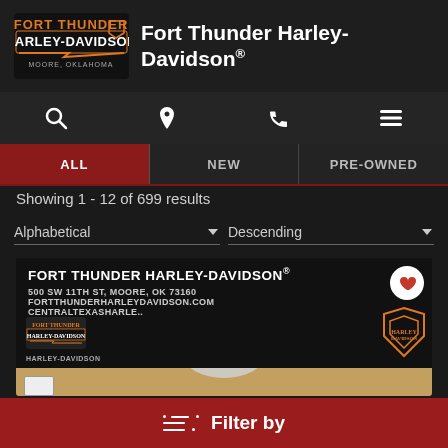[Figure (logo): Fort Thunder Harley-Davidson logo with orange and white text, Moore Oklahoma]
Fort Thunder Harley-Davidson®
[Figure (infographic): Navigation icons: search, location pin, phone, hamburger menu]
ALL | NEW | PRE-OWNED tabs, ALL selected
Showing 1 - 12 of 699 results
Alphabetical ▼   Descending ▼
[Figure (screenshot): Fort Thunder Harley-Davidson dealer card: FORT THUNDER HARLEY-DAVIDSON® 500 SW 11TH ST, MOORE, OK 73160 FORTTHUNDERHARLEYDAVIDSON.COM CENTRALTEXASHARLE.. with Harley-Davidson shield logo, heart favorite button, small Fort Thunder logo, HARLEY-DAVIDSON label, and partial motorcycle image on tan background]
≡ Filter by